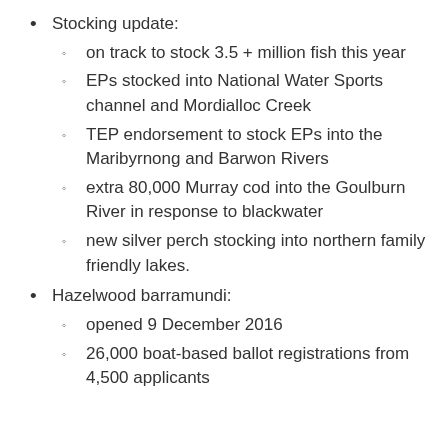Stocking update:
on track to stock 3.5 + million fish this year
EPs stocked into National Water Sports channel and Mordialloc Creek
TEP endorsement to stock EPs into the Maribyrnong and Barwon Rivers
extra 80,000 Murray cod into the Goulburn River in response to blackwater
new silver perch stocking into northern family friendly lakes.
Hazelwood barramundi:
opened 9 December 2016
26,000 boat-based ballot registrations from 4,500 applicants